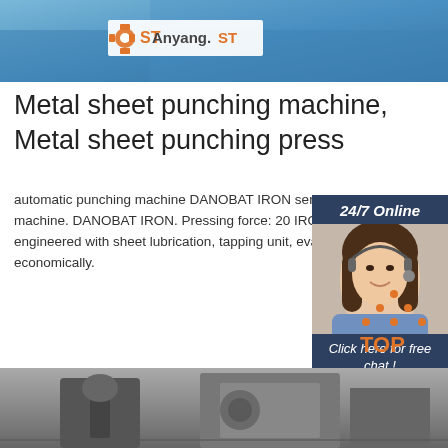[Figure (photo): Top portion of blue industrial metal punching machine with Anyyang ST logo overlay]
Metal sheet punching machine, Metal sheet punching press
automatic punching machine DANOBAT IRON servo-electric for metal sheets. automatic punching machine. DANOBAT IRON. Pressing force: 20 IRON Electric Punching Machine from DANOBAT engineered with sheet lubrication, tapping unit, evacuation trap in order to operate efficiently and economically.
[Figure (infographic): 24/7 Online chat panel with agent photo, 'Click here for free chat!' text and QUOTATION button]
[Figure (other): Orange TOP button with dot triangle icon]
[Figure (photo): Bottom portion showing industrial machinery in warehouse setting]